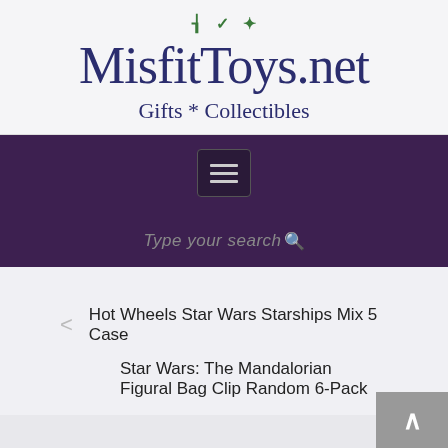[Figure (screenshot): Social media icons: RSS feed, Twitter, Pinterest in green]
MisfitToys.net
Gifts * Collectibles
[Figure (screenshot): Dark purple navigation bar with hamburger menu button and search field reading 'Type your search']
Hot Wheels Star Wars Starships Mix 5 Case
Star Wars: The Mandalorian Figural Bag Clip Random 6-Pack